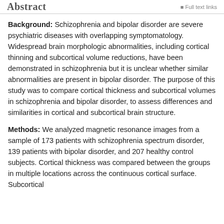Abstract
Background: Schizophrenia and bipolar disorder are severe psychiatric diseases with overlapping symptomatology. Widespread brain morphologic abnormalities, including cortical thinning and subcortical volume reductions, have been demonstrated in schizophrenia but it is unclear whether similar abnormalities are present in bipolar disorder. The purpose of this study was to compare cortical thickness and subcortical volumes in schizophrenia and bipolar disorder, to assess differences and similarities in cortical and subcortical brain structure.
Methods: We analyzed magnetic resonance images from a sample of 173 patients with schizophrenia spectrum disorder, 139 patients with bipolar disorder, and 207 healthy control subjects. Cortical thickness was compared between the groups in multiple locations across the continuous cortical surface. Subcortical